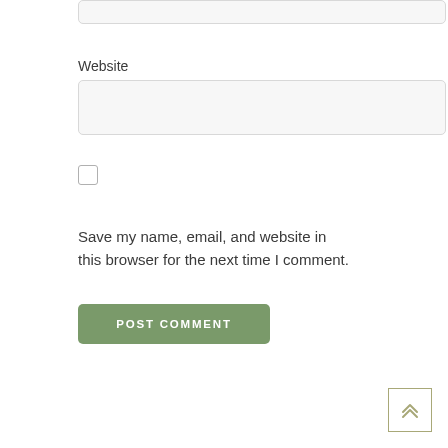[Figure (screenshot): Top partial input box (email or name field, cut off at top of page)]
Website
[Figure (screenshot): Website input text field, empty, light gray background with rounded corners]
[Figure (screenshot): Checkbox, unchecked, with rounded square border]
Save my name, email, and website in this browser for the next time I comment.
[Figure (screenshot): POST COMMENT button, olive/sage green background, white uppercase text]
[Figure (screenshot): Scroll-to-top button in bottom right corner: square with double up-chevron arrows, olive border]